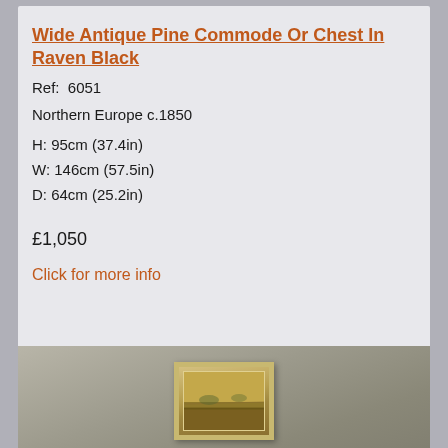Wide Antique Pine Commode Or Chest In Raven Black
Ref:  6051
Northern Europe c.1850
H: 95cm (37.4in)
W: 146cm (57.5in)
D: 64cm (25.2in)
£1,050
Click for more info
[Figure (photo): A small landscape painting in a gold/cream frame hanging on a grey-green wall]